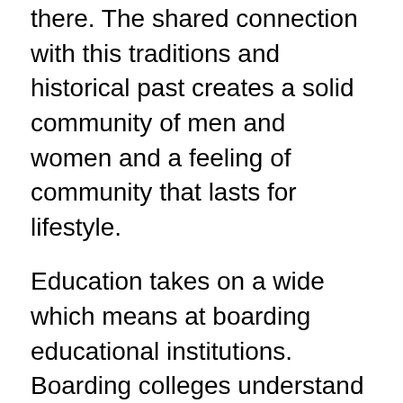there. The shared connection with this traditions and historical past creates a solid community of men and women and a feeling of community that lasts for lifestyle.
Education takes on a wide which means at boarding educational institutions. Boarding colleges understand this – they often have an explicit objective to not only educate college students in the school room, but to also assist them to come to be better-curved individuals. So when getting on educational institutions often do perfectly at instructing individuals academically (in such a way which might be a